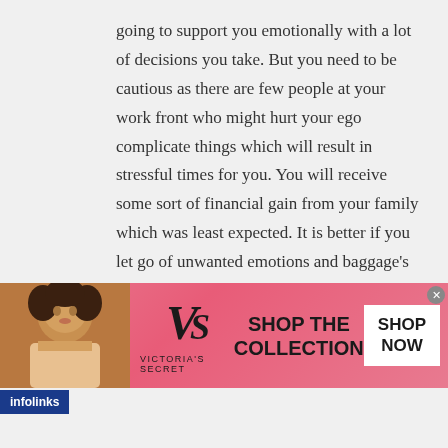going to support you emotionally with a lot of decisions you take. But you need to be cautious as there are few people at your work front who might hurt your ego complicate things which will result in stressful times for you. You will receive some sort of financial gain from your family which was least expected. It is better if you let go of unwanted emotions and baggage's of the past as it might affect your physical and mental health.
Channels
Tarot
infolinks
[Figure (photo): Victoria's Secret advertisement banner with pink background, model photo on left, VS logo, and 'SHOP THE COLLECTION' text with 'SHOP NOW' button]